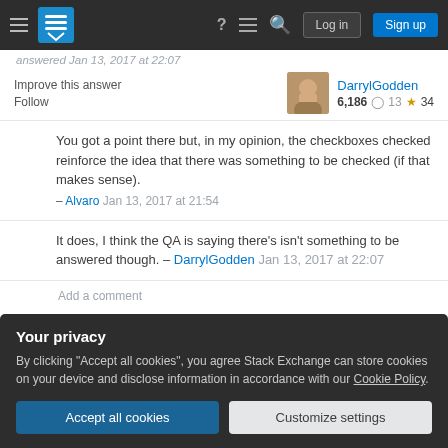Stack Exchange navigation bar with Log in and Sign up buttons
Improve this answer
Follow
DarrylGodden 6,186 ○13 ★34
You got a point there but, in my opinion, the checkboxes checked reinforce the idea that there was something to be checked (if that makes sense).
– Alvaro Jan 13, 2017 at 21:54
It does, I think the QA is saying there's isn't something to be answered though. – DarrylGodden Jan 13, 2017 at 22:07
Add a comment
Your privacy
By clicking "Accept all cookies", you agree Stack Exchange can store cookies on your device and disclose information in accordance with our Cookie Policy.
Accept all cookies
Customize settings